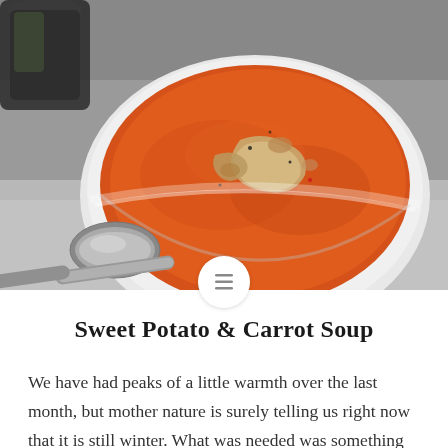[Figure (photo): A white bowl filled with orange sweet potato and carrot soup, topped with chunks of ingredients, with a metal spoon to the left and a glass partially visible in the top-left corner. Photo taken on a grey surface.]
Sweet Potato & Carrot Soup
We have had peaks of a little warmth over the last month, but mother nature is surely telling us right now that it is still winter. What was needed was something that would